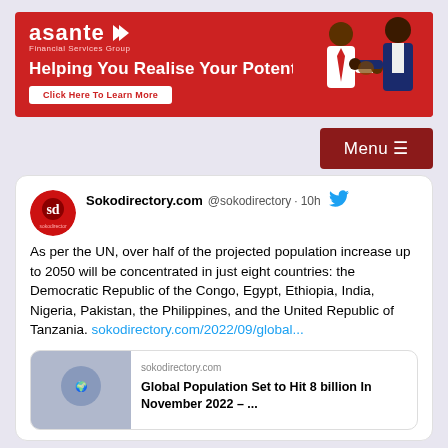[Figure (illustration): Asante Financial Services Group advertisement banner on red background with tagline 'Helping You Realise Your Potential.' and a 'Click Here To Learn More' button, with two illustrated businessmen shaking hands on the right side.]
Menu ☰
[Figure (screenshot): Twitter/X tweet from Sokodirectory.com (@sokodirectory) posted 10h ago. Tweet text: As per the UN, over half of the projected population increase up to 2050 will be concentrated in just eight countries: the Democratic Republic of the Congo, Egypt, Ethiopia, India, Nigeria, Pakistan, the Philippines, and the United Republic of Tanzania. sokodirectory.com/2022/09/global... With a preview card showing sokodirectory.com and title 'Global Population Set to Hit 8 billion In November 2022 – ...']